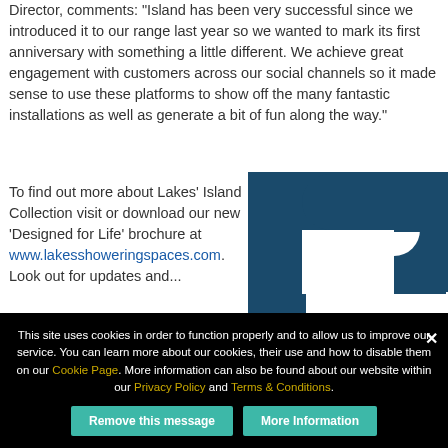Director, comments: "Island has been very successful since we introduced it to our range last year so we wanted to mark its first anniversary with something a little different. We achieve great engagement with customers across our social channels so it made sense to use these platforms to show off the many fantastic installations as well as generate a bit of fun along the way."
To find out more about Lakes' Island Collection visit or download our new 'Designed for Life' brochure at www.lakesshoweringspaces.com. Look out for updates and...
[Figure (logo): Large dark teal/navy stylized number or letter logo graphic]
This site uses cookies in order to function properly and to allow us to improve our service. You can learn more about our cookies, their use and how to disable them on our Cookie Page. More information can also be found about our website within our Privacy Policy and Terms & Conditions.
Remove this message
More Information